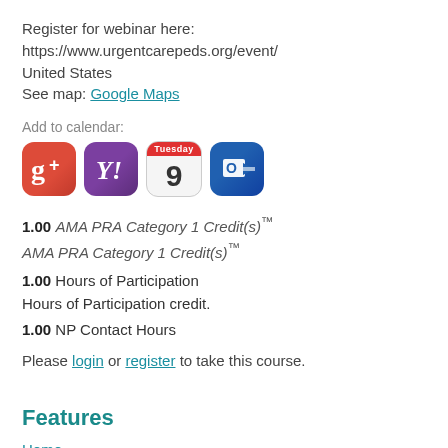Register for webinar here:
https://www.urgentcarepeds.org/event/
United States
See map: Google Maps
Add to calendar:
[Figure (infographic): Four calendar/add-to-calendar app icons: Google+, Yahoo, a Tuesday the 9th calendar, and Outlook]
1.00 AMA PRA Category 1 Credit(s)™
AMA PRA Category 1 Credit(s)™
1.00 Hours of Participation
Hours of Participation credit.
1.00 NP Contact Hours
Please login or register to take this course.
Features
Home
Sessions